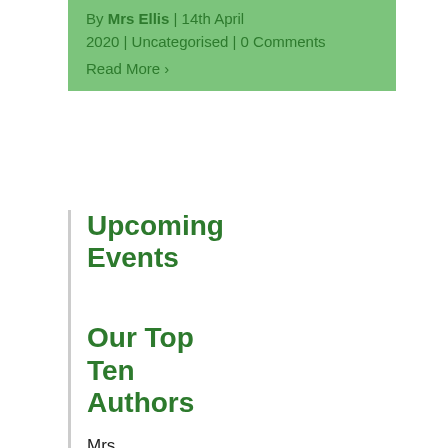By Mrs Ellis | 14th April 2020 | Uncategorised | 0 Comments
Read More >
Upcoming Events
Our Top Ten Authors
Mrs Simons (13)
Mrs Ellis